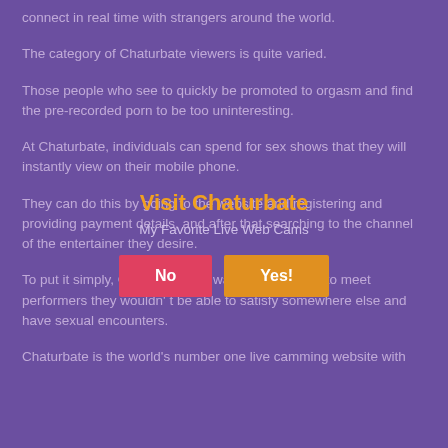connect in real time with strangers around the world.
The category of Chaturbate viewers is quite varied.
Those people who see to quickly be promoted to orgasm and find the pre-recorded porn to be too uninteresting.
At Chaturbate, individuals can spend for sex shows that they will instantly view on their mobile phone.
[Figure (infographic): Popup overlay with title 'Visit Chaturbate', subtitle 'My Favorite Live Web Cams', and two buttons: 'No' (red) and 'Yes!' (orange/yellow)]
They can do this by going to the website and registering and providing payment details, and after that searching to the channel of the entertainer they desire.
To put it simply, Chaturbate is a way for audiences to meet performers they wouldn' t be able to satisfy somewhere else and have sexual encounters.
Chaturbate is the world's number one live camming website with